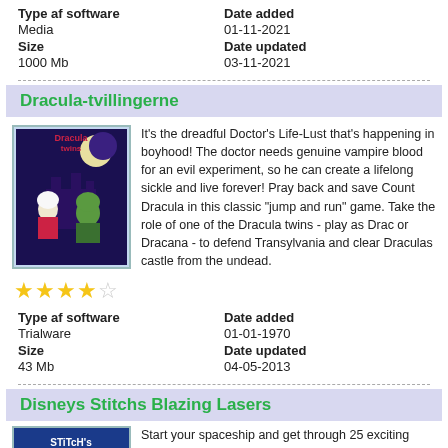Type af software
Media
Size
1000 Mb
Date added
01-11-2021
Date updated
03-11-2021
Dracula-tvillingerne
[Figure (illustration): Dracula Twins game cover art showing animated vampire children]
It's the dreadful Doctor's Life-Lust that's happening in boyhood! The doctor needs genuine vampire blood for an evil experiment, so he can create a lifelong sickle and live forever! Pray back and save Count Dracula in this classic "jump and run" game. Take the role of one of the Dracula twins - play as Drac or Dracana - to defend Transylvania and clear Draculas castle from the undead.
[Figure (other): 4 out of 5 stars rating]
Type af software
Trialware
Size
43 Mb
Date added
01-01-1970
Date updated
04-05-2013
Disneys Stitchs Blazing Lasers
[Figure (illustration): Stitch's Blazing Lasers game cover thumbnail]
Start your spaceship and get through 25 exciting lanes, fight flock of enemy star warriors. Tank up on your shields